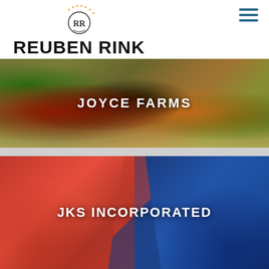[Figure (logo): Reuben Rink logo: circular emblem with RR monogram surrounded by orange stars, above the stylized text REUBEN RINK in bold serif font]
[Figure (photo): Joyce Farms banner image showing grilled meat (steak) with green asparagus and scallions on a bed of grain/polenta, with overlay text JOYCE FARMS in white bold letters]
[Figure (photo): JKS Incorporated banner image with red (left half) and blue (right half) color-tinted industrial/server room background, with overlay text JKS INCORPORATED in white bold letters]